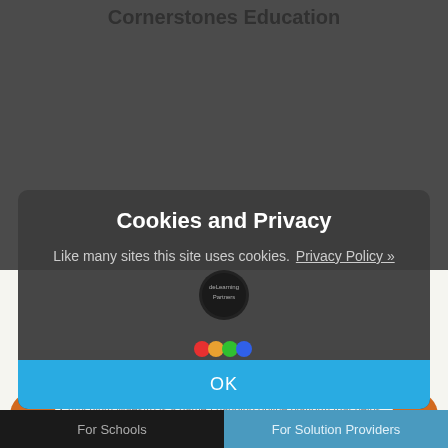Cookies and Privacy
Like many sites this site uses cookies.  Privacy Policy »
OK
Cornerstones Education
https://cornerstoneseducation.co.uk/
Curriculum Maestro is a game-changing online platform that helps yo... Implement and manage your primary curriculum all from one place. It includes a fully resourced curriculum, projects, resources, teaching, and...
For Schools    For Solution Providers